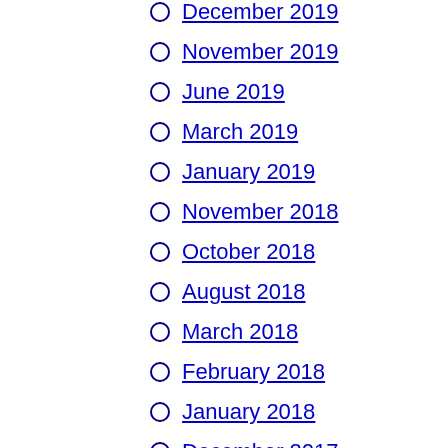December 2019
November 2019
June 2019
March 2019
January 2019
November 2018
October 2018
August 2018
March 2018
February 2018
January 2018
December 2017
November 2017
October 2017
September 2017
August 2017
July 2017
June 2017
May 2017
April 2017
March 2017
February 2017
January 2017
December 2016
November 2016
October 2016
September 2016